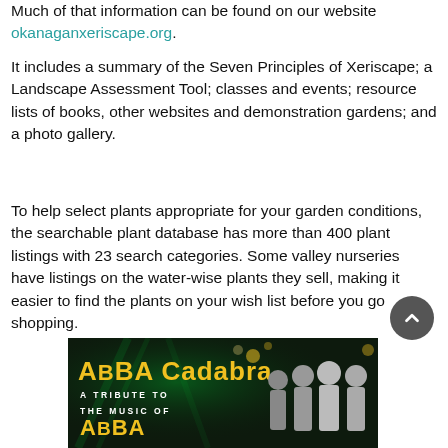Much of that information can be found on our website okanaganxeriscape.org.
It includes a summary of the Seven Principles of Xeriscape; a Landscape Assessment Tool; classes and events; resource lists of books, other websites and demonstration gardens; and a photo gallery.
To help select plants appropriate for your garden conditions, the searchable plant database has more than 400 plant listings with 23 search categories. Some valley nurseries have listings on the water-wise plants they sell, making it easier to find the plants on your wish list before you go shopping.
[Figure (photo): Advertisement banner for ABBA Cadabra - A Tribute to the Music of ABBA, showing gold text on dark green background with performers.]